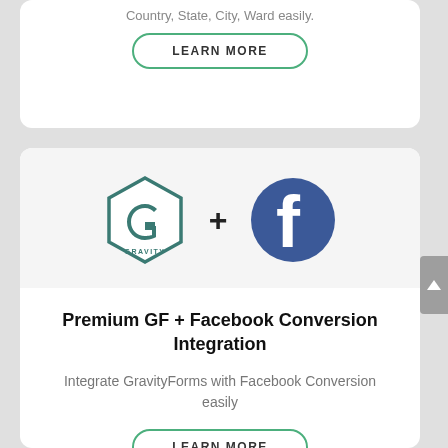Country, State, City, Ward easily.
LEARN MORE
[Figure (logo): Gravity Forms hexagon logo plus Facebook logo, side by side with a + sign between them]
Premium GF + Facebook Conversion Integration
Integrate GravityForms with Facebook Conversion easily
LEARN MORE